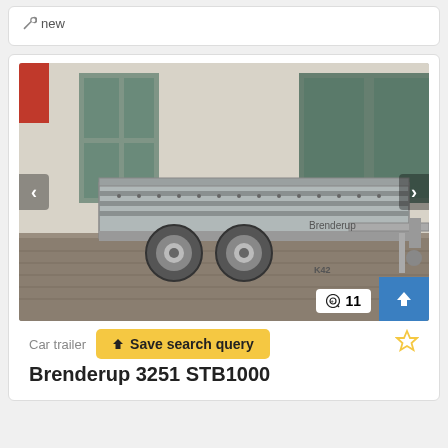new
[Figure (photo): A galvanized car trailer (Brenderup 3251 STB1000) with double axle parked in front of a building with large windows. The trailer has drop-down sides and a tow hitch. Navigation arrows visible on left and right sides of image. Photo count badge showing 11 and an upload button visible at bottom right.]
Car trailer
Save search query
Brenderup 3251 STB1000